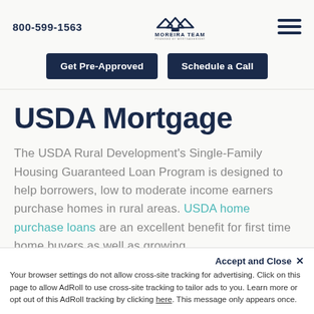800-599-1563 | MOREIRA TEAM | POWERED BY MORTGAGERIGHT
[Figure (logo): Moreira Team logo with house/roof icon, text MOREIRA TEAM POWERED BY MORTGAGERIGHT]
Get Pre-Approved | Schedule a Call
USDA Mortgage
The USDA Rural Development's Single-Family Housing Guaranteed Loan Program is designed to help borrowers, low to moderate income earners purchase homes in rural areas. USDA home purchase loans are an excellent benefit for first time home buyers as well as growing
Accept and Close ×
Your browser settings do not allow cross-site tracking for advertising. Click on this page to allow AdRoll to use cross-site tracking to tailor ads to you. Learn more or opt out of this AdRoll tracking by clicking here. This message only appears once.